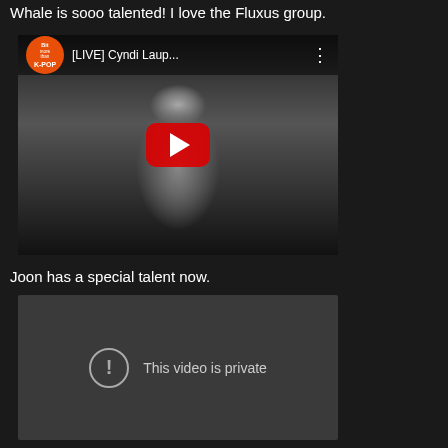Whale is sooo talented! I love the Fluxus group.
[Figure (screenshot): YouTube video thumbnail showing a person playing guitar in black and white. Video title reads '[LIVE] Cyndi Laup...' with a K-POP channel logo (Bit More Than K-POP) in top-left corner and red YouTube play button in center.]
Joon has a special talent now.
[Figure (screenshot): Dark grey video placeholder with a circle exclamation icon and text reading 'This video is private']